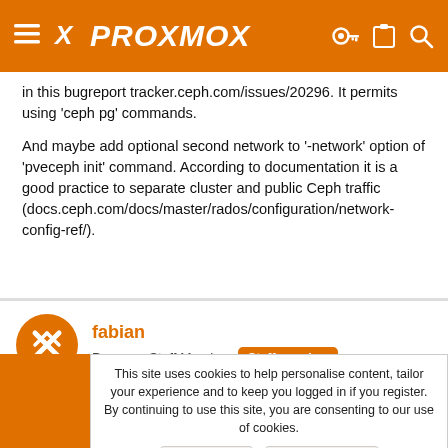PROXMOX
in this bugreport tracker.ceph.com/issues/20296. It permits using 'ceph pg' commands.
And maybe add optional second network to '-network' option of 'pveceph init' command. According to documentation it is a good practice to separate cluster and public Ceph traffic (docs.ceph.com/docs/master/rados/configuration/network-config-ref/).
fabian
Proxmox Staff Member  Staff member
This site uses cookies to help personalise content, tailor your experience and to keep you logged in if you register.
By continuing to use this site, you are consenting to our use of cookies.